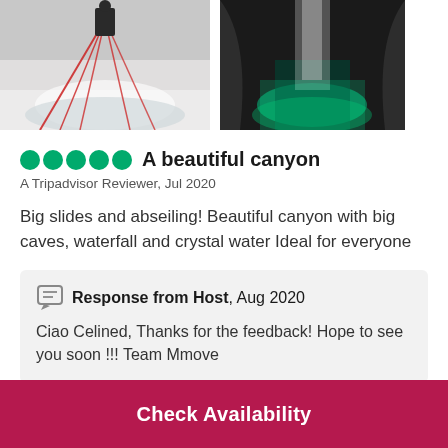[Figure (photo): Person abseiling/rappelling down a waterfall with red ropes visible, snowy/misty water background]
[Figure (photo): View from inside a dark cave looking out at a waterfall with green-lit water]
A beautiful canyon
A Tripadvisor Reviewer, Jul 2020
Big slides and abseiling! Beautiful canyon with big caves, waterfall and crystal water Ideal for everyone
Response from Host, Aug 2020
Ciao Celined, Thanks for the feedback! Hope to see you soon !!! Team Mmove
Check Availability